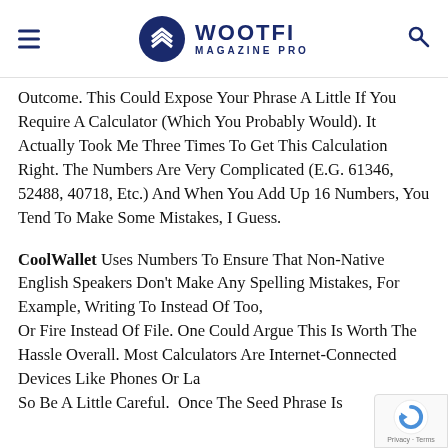WOOTFI MAGAZINE PRO
Outcome. This Could Expose Your Phrase A Little If You Require A Calculator (Which You Probably Would). It Actually Took Me Three Times To Get This Calculation Right. The Numbers Are Very Complicated (E.G. 61346, 52488, 40718, Etc.) And When You Add Up 16 Numbers, You Tend To Make Some Mistakes, I Guess.
CoolWallet Uses Numbers To Ensure That Non-Native English Speakers Don't Make Any Spelling Mistakes, For Example, Writing To Instead Of Too, Or Fire Instead Of File. One Could Argue This Is Worth The Hassle Overall. Most Calculators Are Internet-Connected Devices Like Phones Or Laptops, So Be A Little Careful.  Once The Seed Phrase Is